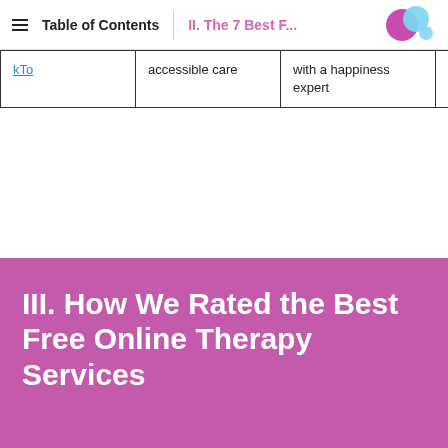Table of Contents  |  II. The 7 Best F...
| kTo | accessible care | with a happiness expert |  |
III. How We Rated the Best Free Online Therapy Services